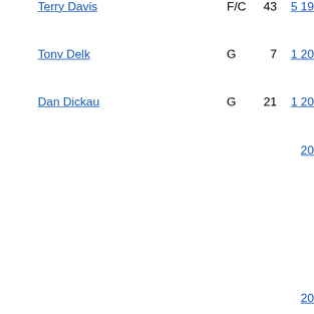| Player | Pos | GP | Years |
| --- | --- | --- | --- |
| Terry Davis | F/C | 43 | 5 19xx |
| Tony Delk | G | 7 | 1 20xx |
| Dan Dickau | G | 21 | 1 20xx / 20xx |
| DeSagana Diop | C | 7 | 4 |
|  |  |  | 20xx |